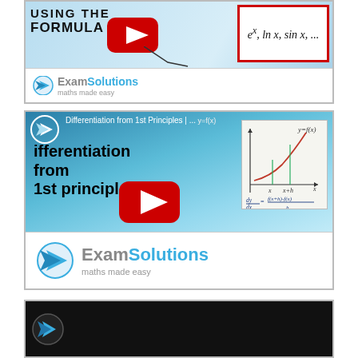[Figure (screenshot): YouTube thumbnail for ExamSolutions video about using the formula book, showing partial title text 'USING THE FORMULA BOO...' with a red-bordered box showing 'e^x, lnx, sinx, ...' and a YouTube play button overlay. ExamSolutions logo at bottom.]
[Figure (screenshot): YouTube thumbnail for ExamSolutions video 'Differentiation from 1st Principles', showing large bold text, a YouTube play button, a whiteboard diagram with y=f(x) curve and formula dy/dx = f(x+h)-f(x)/h lim h→0, and ExamSolutions branding.]
[Figure (screenshot): Partial YouTube thumbnail (bottom of page), showing dark background with ExamSolutions circle logo icon partially visible.]